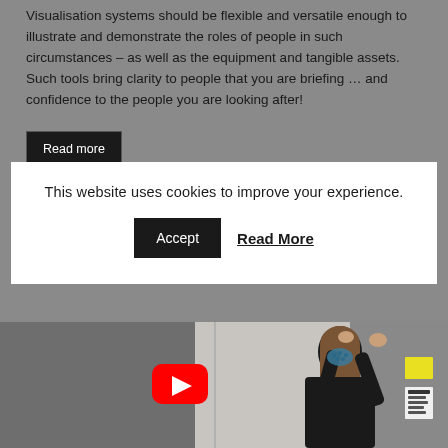Visualisation systems should be flexible and versatile enough to illustrate and demonstrate the roles of people in such circumstances – as well as the equipment and tangible assets. Such tools bring clarity to people that you are briefing … and confidence to the people you are looking after!
Read more
This website uses cookies to improve your experience.
Accept   Read More
[Figure (photo): A person wearing a mask pointing at a wall, with a YouTube play button overlay visible in the foreground.]